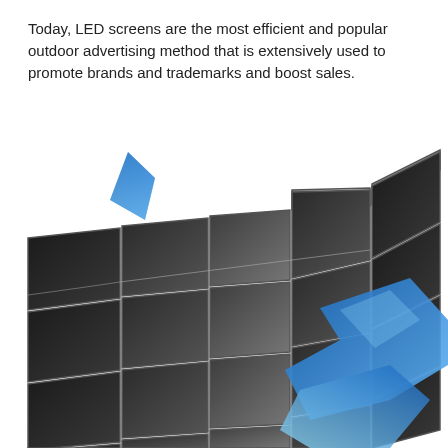Today, LED screens are the most efficient and popular outdoor advertising method that is extensively used to promote brands and trademarks and boost sales.
[Figure (illustration): 3D illustration of a curved LED display wall made of multiple dark screen panels arranged in a grid, with blue geometric arrow/diamond shapes overlaid in the foreground, suggesting dynamic advertising capability.]